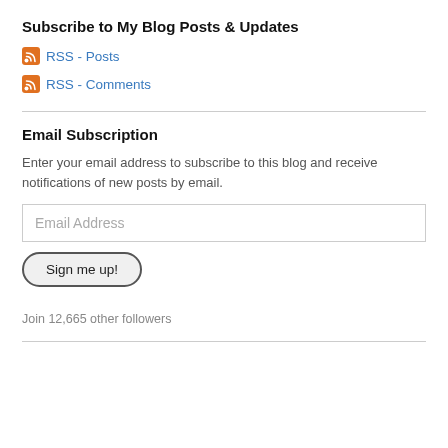Subscribe to My Blog Posts & Updates
RSS - Posts
RSS - Comments
Email Subscription
Enter your email address to subscribe to this blog and receive notifications of new posts by email.
Email Address
Sign me up!
Join 12,665 other followers